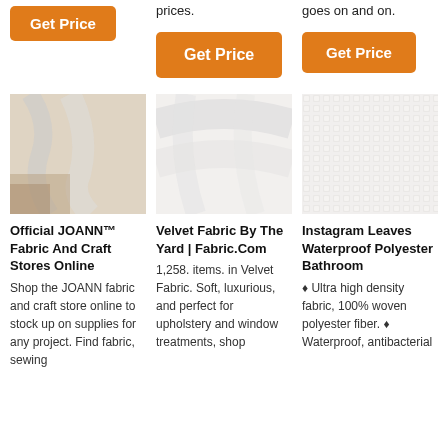[Figure (other): Orange Get Price button, top-left column]
prices.
[Figure (other): Orange Get Price button, middle column]
goes on and on.
[Figure (other): Orange Get Price button, right column]
[Figure (photo): Photo of white/cream fabric, first card]
[Figure (photo): Photo of white fabric close-up, second card]
[Figure (photo): Photo of white textured polyester fabric, third card]
Official JOANN™ Fabric And Craft Stores Online
Shop the JOANN fabric and craft store online to stock up on supplies for any project. Find fabric, sewing
Velvet Fabric By The Yard | Fabric.Com
1,258. items. in Velvet Fabric. Soft, luxurious, and perfect for upholstery and window treatments, shop
Instagram Leaves Waterproof Polyester Bathroom
♦ Ultra high density fabric, 100% woven polyester fiber. ♦ Waterproof, antibacterial